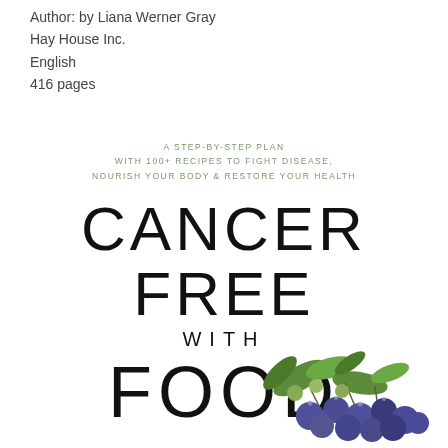Author: by Liana Werner Gray
Hay House Inc.
English
416 pages
A STEP-BY-STEP PLAN WITH 100+ RECIPES TO FIGHT DISEASE, NOURISH YOUR BODY & RESTORE YOUR HEALTH
CANCER FREE WITH FOOD
[Figure (illustration): Blueberries with green leaves on a white background, bottom portion of book cover image]